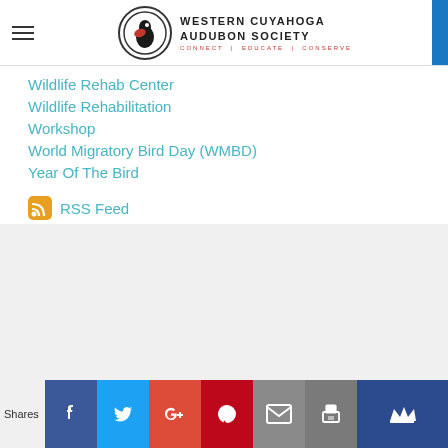Western Cuyahoga Audubon Society — CONNECT | EDUCATE | CONSERVE
Wildlife Rehab Center
Wildlife Rehabilitation
Workshop
World Migratory Bird Day (WMBD)
Year Of The Bird
RSS Feed
Shares | Facebook | Twitter | Google+ | Pinterest | Email | Print | Crown